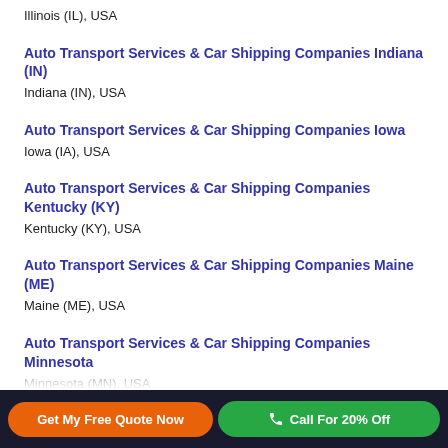Illinois (IL), USA
Auto Transport Services & Car Shipping Companies Indiana (IN)
Indiana (IN), USA
Auto Transport Services & Car Shipping Companies Iowa
Iowa (IA), USA
Auto Transport Services & Car Shipping Companies Kentucky (KY)
Kentucky (KY), USA
Auto Transport Services & Car Shipping Companies Maine (ME)
Maine (ME), USA
Auto Transport Services & Car Shipping Companies Minnesota
Minnesota (MN), USA
Get My Free Quote Now  |  Call For 20% Off